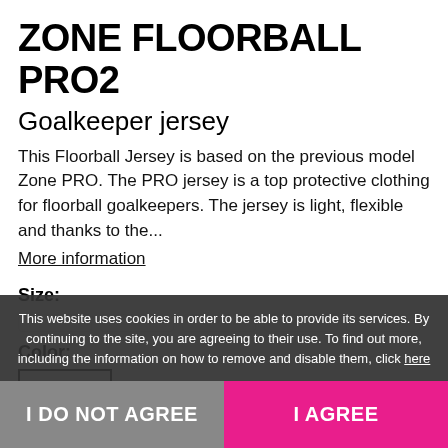ZONE FLOORBALL PRO2
Goalkeeper jersey
This Floorball Jersey is based on the previous model Zone PRO. The PRO jersey is a top protective clothing for floorball goalkeepers. The jersey is light, flexible and thanks to the...
More information
Size:
Color:
This website uses cookies in order to be able to provide its services. By continuing to the site, you are agreeing to their use. To find out more, including the information on how to remove and disable them, click here
I DO NOT AGREE
I AGREE